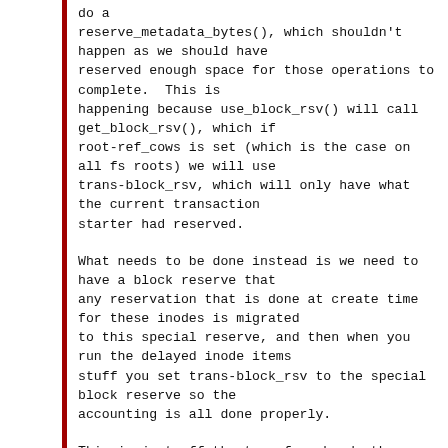do a
reserve_metadata_bytes(), which shouldn't
happen as we should have
reserved enough space for those operations to
complete.  This is
happening because use_block_rsv() will call
get_block_rsv(), which if
root-ref_cows is set (which is the case on
all fs roots) we will use
trans-block_rsv, which will only have what
the current transaction
starter had reserved.
What needs to be done instead is we need to
have a block reserve that
any reservation that is done at create time
for these inodes is migrated
to this special reserve, and then when you
run the delayed inode items
stuff you set trans-block_rsv to the special
block reserve so the
accounting is all done properly.
This is just off the top of my head, there